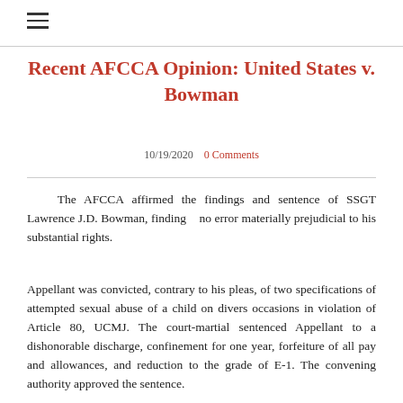≡
Recent AFCCA Opinion: United States v. Bowman
10/19/2020    0 Comments
The AFCCA affirmed the findings and sentence of SSGT Lawrence J.D. Bowman, finding    no error materially prejudicial to his substantial rights.
Appellant was convicted, contrary to his pleas, of two specifications of attempted sexual abuse of a child on divers occasions in violation of Article 80, UCMJ. The court-martial sentenced Appellant to a dishonorable discharge, confinement for one year, forfeiture of all pay and allowances, and reduction to the grade of E-1. The convening authority approved the sentence.